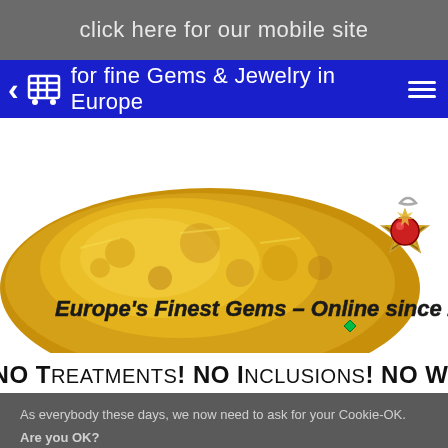click here for our mobile site
for fine Gems & Jewelry in Europe
[Figure (illustration): Gold nugget banner with gem medallion badge. Text: Europe's Finest Gems - Online since 2003. Bottom banner text: NO Treatments! NO Inclusions! NO W...]
As everybody these days, we now need to ask for your Cookie-OK.
Are you OK?
We hope this message shows only once.
Allow Cookies